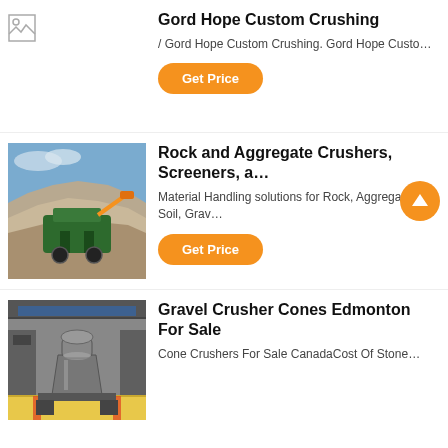[Figure (photo): Broken image placeholder icon for Gord Hope Custom Crushing listing]
Gord Hope Custom Crushing
/ Gord Hope Custom Crushing. Gord Hope Custo…
Get Price
[Figure (photo): Photo of a green rock crushing machine working on a large pile of aggregate/gravel outdoors under blue sky]
Rock and Aggregate Crushers, Screeners, a…
Material Handling solutions for Rock, Aggregate, Soil, Grav…
Get Price
[Figure (photo): Photo of a cone crusher machine in an industrial facility with yellow floor markings]
Gravel Crusher Cones Edmonton For Sale
Cone Crushers For Sale CanadaCost Of Stone…